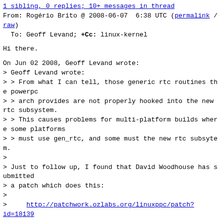1 sibling, 0 replies; 10+ messages in thread
From: Rogério Brito @ 2008-06-07  6:38 UTC (permalink / raw)
  To: Geoff Levand; +Cc: linux-kernel
Hi there.
On Jun 02 2008, Geoff Levand wrote:
> Geoff Levand wrote:
> > From what I can tell, those generic rtc routines the powerpc
> > arch provides are not properly hooked into the new rtc subsystem.
> > This causes problems for multi-platform builds where some platforms
> > must use gen_rtc, and some must the new rtc subsytem.
>
> Just to follow up, I found that David Woodhouse has submitted
> a patch which does this:
>
>     http://patchwork.ozlabs.org/linuxppc/patch?id=18139
This is nice, since I was just going to ask why my config file (put at
http://www.ime.usp.br/~rbrito/debug/config-2.6.26-rc4-4) has